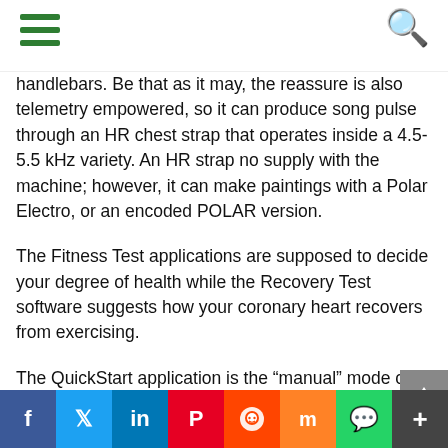Navigation bar with hamburger menu and search icon
handlebars. Be that as it may, the reassure is also telemetry empowered, so it can produce song pulse through an HR chest strap that operates inside a 4.5-5.5 kHz variety. An HR strap no supply with the machine; however, it can make paintings with a Polar Electro, or an encoded POLAR version.
The Fitness Test applications are supposed to decide your degree of health while the Recovery Test software suggests how your coronary heart recovers from exercising.
The QuickStart application is the “manual” mode of the device, which gives you the possibility to pedal
Social share bar: Facebook, Twitter, LinkedIn, Pinterest, Reddit, Mix, WhatsApp, More